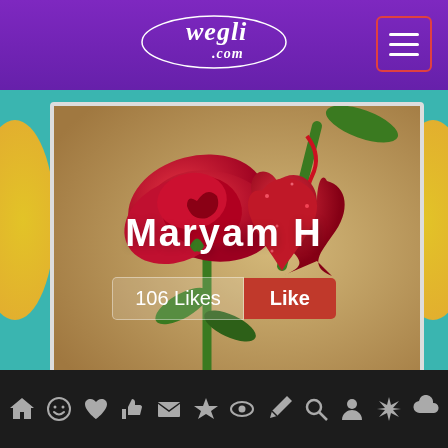wegli.com
[Figure (photo): A red rose flower and a red glittery heart ornament placed together on a golden/beige surface. There is a green stem visible in the upper right corner.]
Maryam  H
106 Likes  Like
Navigation bar with icons: home, smiley, heart, thumbs-up, envelope, star, eye, pen, search, person, burst, cloud